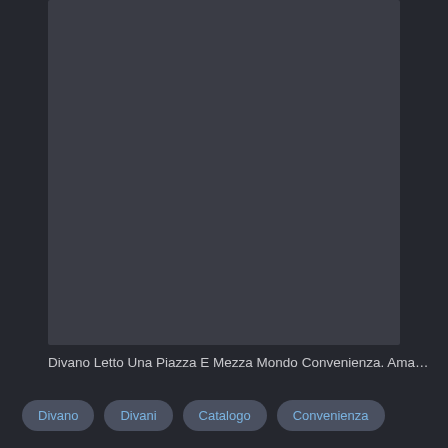[Figure (other): Dark gray placeholder image area with no visible content]
Divano Letto Una Piazza E Mezza Mondo Convenienza. Ama…
Divano
Divani
Catalogo
Convenienza